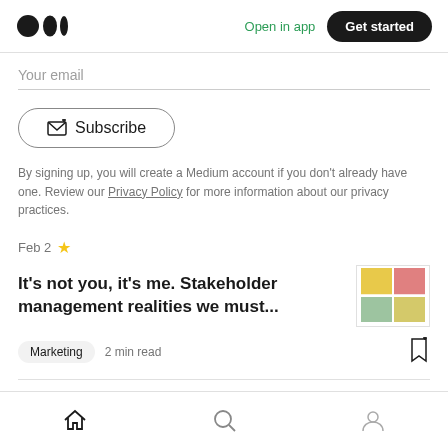Medium logo | Open in app | Get started
Your email
Subscribe
By signing up, you will create a Medium account if you don't already have one. Review our Privacy Policy for more information about our privacy practices.
Feb 2
It's not you, it's me. Stakeholder management realities we must...
[Figure (infographic): Thumbnail image showing a 2x2 colored quadrant matrix with yellow, pink/red, green, and olive sections]
Marketing  2 min read
Home | Search | Profile